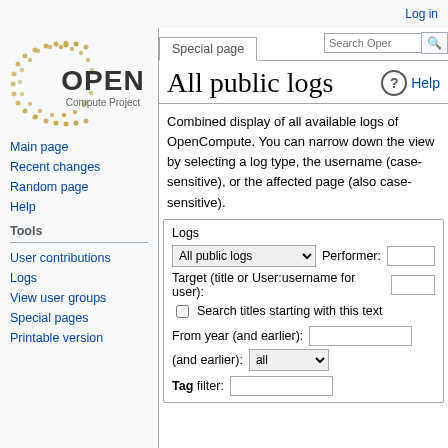Log in
[Figure (logo): Open Compute Project logo with circular dot pattern and text 'OPEN Compute Project']
Main page
Recent changes
Random page
Help
Tools
User contributions
Logs
View user groups
Special pages
Printable version
Special page
All public logs
Combined display of all available logs of OpenCompute. You can narrow down the view by selecting a log type, the username (case-sensitive), or the affected page (also case-sensitive).
| All public logs | Performer: |
| Target (title or User:username for user): |  |
| Search titles starting with this text |  |
| From year (and earlier): |  |
| (and earlier): | all |
| Tag filter: |  |